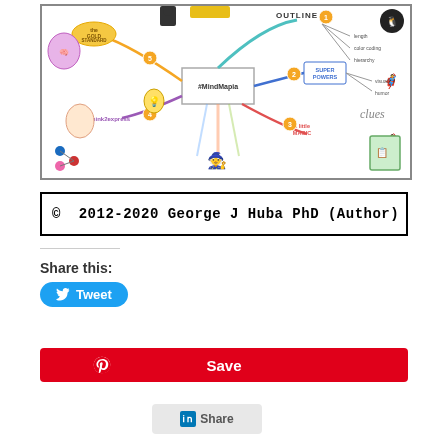[Figure (infographic): A colorful mind map titled '#MindMapia' with 5 numbered branches showing topics like 'The Gold Standard', 'OUTLINE', 'Super Powers', 'a little MAGIC', and 'think2express'. Various illustrated characters and icons (brain, penguin, superheroes, wizard, egg, light bulb) surround the central node with connecting colored lines and labels.]
© 2012-2020 George J Huba PhD (Author)
Share this:
Tweet
Save
Share